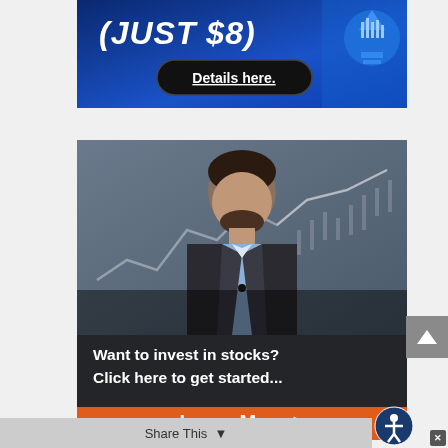[Figure (infographic): Blue gradient advertisement banner with text '(JUST $8)' and a 'Details here.' button, with a lightbulb icon on the right]
[Figure (photo): Video thumbnail showing a man in a suit with a beard, sitting in front of a stock chart background, with overlay text 'Want to invest in stocks? Click here to get started...' and an orange 'Learn More >' button]
Share This
[Figure (other): Accessibility icon button (person in circle)]